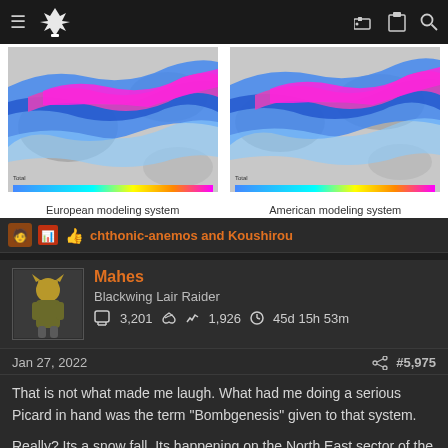Navigation bar with hamburger menu, logo, key icon, clipboard icon, search icon
[Figure (map): Two side-by-side weather forecast maps showing snowfall with blue and magenta color bands. Left: European modeling system. Right: American modeling system.]
European modeling system | American modeling system
chthonic-anemos and Koushirou
Mahes
Blackwing Lair Raider
3,201  1,926  45d 15h 53m
Jan 27, 2022  #5,975
That is not what made me laugh. What had me doing a serious Picard in hand was the term "Bombgenesis" given to that system.

Really? Its a snow fall. Its happening on the North East sector of the US. The area gets Snow Fall during the winter every year. Its a normal occurrence. Sometimes it can be a Blizzard. I have yet to hear that word used this year. Instead, we got BOMBGENESIS...